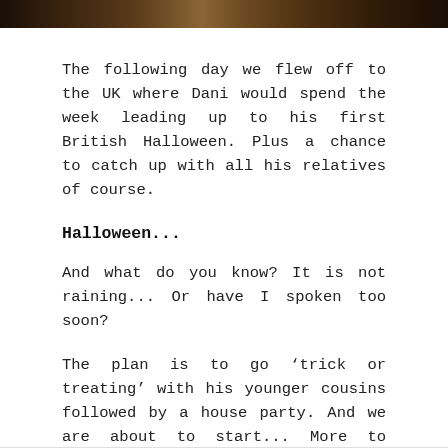[Figure (photo): Top strip showing a partial photograph, dark tones with figures visible]
The following day we flew off to the UK where Dani would spend the week leading up to his first British Halloween. Plus a chance to catch up with all his relatives of course.
Halloween...
And what do you know? It is not raining... Or have I spoken too soon?
The plan is to go ‘trick or treating’ with his younger cousins followed by a house party. And we are about to start... More to come.